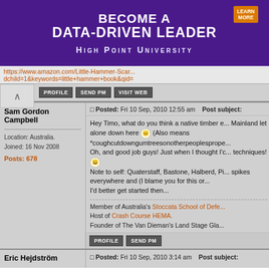[Figure (photo): Advertisement banner for High Point University - Become a Data-Driven Leader, purple background]
https://www.amazon.com/... dchild=1&keywords=little+hammer+book&qid=...
PROFILE  SEND PM  VISIT WEB
Sam Gordon Campbell
Location: Australia.
Joined: 16 Nov 2008
Posts: 678
Posted: Fri 10 Sep, 2010 12:55 am   Post subject:
Hey Timo, what do you think a native timber e... Mainland let alone down here :) (Also means *coughcutdowngumtreesonotherpeoplespropc... Oh, and good job guys! Just when I thought I'c techniques! :D Note to self: Quaterstaff, Bastone, Halberd, Pi... spikes everywhere and (I blame you for this or... I'd better get started then...
Member of Australia's Stoccata School of Defe... Host of Crash Course HEMA. Founder of The Van Dieman's Land Stage Gla...
PROFILE  SEND PM
Eric Hejdström
Posted: Fri 10 Sep, 2010 3:14 am   Post subject: